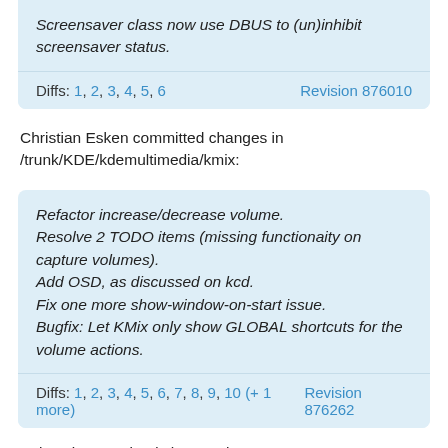Screensaver class now use DBUS to (un)inhibit screensaver status.
Diffs: 1, 2, 3, 4, 5, 6   Revision 876010
Christian Esken committed changes in /trunk/KDE/kdemultimedia/kmix:
Refactor increase/decrease volume.
Resolve 2 TODO items (missing functionaity on capture volumes).
Add OSD, as discussed on kcd.
Fix one more show-window-on-start issue.
Bugfix: Let KMix only show GLOBAL shortcuts for the volume actions.
Diffs: 1, 2, 3, 4, 5, 6, 7, 8, 9, 10 (+ 1 more)   Revision 876262
Seb Ruiz committed changes in
/trunk/extragear/multimedia/amarok/src: